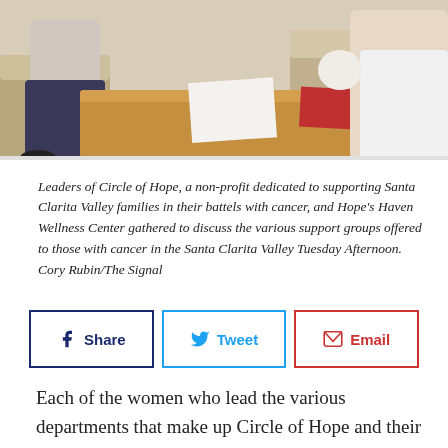[Figure (photo): Photo of women seated on sofas around a wooden coffee table, discussing cancer support groups at Hope's Haven Wellness Center.]
Leaders of Circle of Hope, a non-profit dedicated to supporting Santa Clarita Valley families in their battels with cancer, and Hope's Haven Wellness Center gathered to discuss the various support groups offered to those with cancer in the Santa Clarita Valley Tuesday Afternoon. Cory Rubin/The Signal
[Figure (infographic): Social sharing buttons: Share (Facebook), Tweet (Twitter), Email]
Each of the women who lead the various departments that make up Circle of Hope and their Hope's Haven Cancer Wellness Center, a nonprofit organization dedicated to supporting those fighting cancer in Santa Clarita, are passionate about what